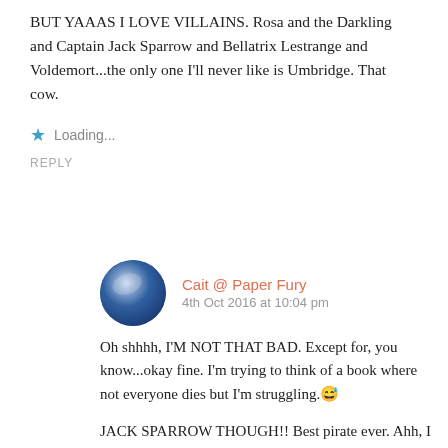BUT YAAAS I LOVE VILLAINS. Rosa and the Darkling and Captain Jack Sparrow and Bellatrix Lestrange and Voldemort...the only one I'll never like is Umbridge. That cow.
Loading...
REPLY
Cait @ Paper Fury
4th Oct 2016 at 10:04 pm
Oh shhhh, I'M NOT THAT BAD. Except for, you know...okay fine. I'm trying to think of a book where not everyone dies but I'm struggling. 😅
JACK SPARROW THOUGH!! Best pirate ever. Ahh, I have too much like for pirates. (And is it bad but I really felt bad for Voldemort in book 7 after learning his